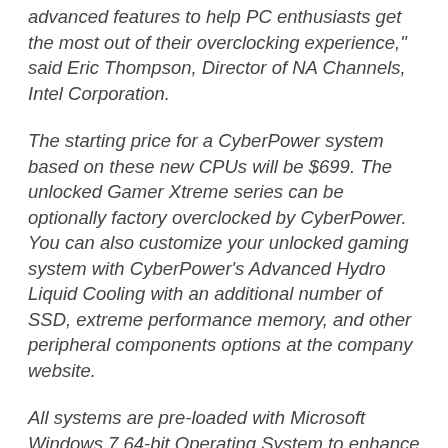advanced features to help PC enthusiasts get the most out of their overclocking experience," said Eric Thompson, Director of NA Channels, Intel Corporation.
The starting price for a CyberPower system based on these new CPUs will be $699. The unlocked Gamer Xtreme series can be optionally factory overclocked by CyberPower. You can also customize your unlocked gaming system with CyberPower's Advanced Hydro Liquid Cooling with an additional number of SSD, extreme performance memory, and other peripheral components options at the company website.
All systems are pre-loaded with Microsoft Windows 7 64-bit Operating System to enhance your gaming and multimedia experience. All CyberPower computer systems come with a 3